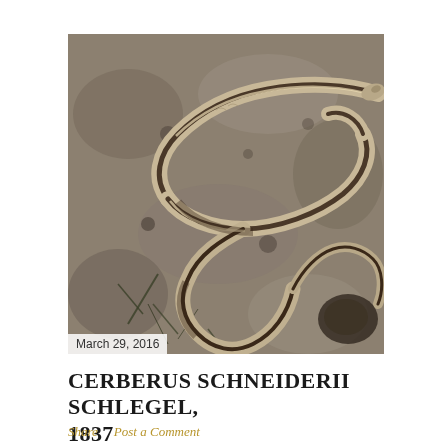[Figure (photo): A snake (Cerberus schneiderii) coiled on rocky ground with sparse dry vegetation. The snake has a grayish-brown coloration with a lighter lateral stripe, and is photographed from above on a stone surface.]
March 29, 2016
CERBERUS SCHNEIDERII SCHLEGEL, 1837
Share    Post a Comment